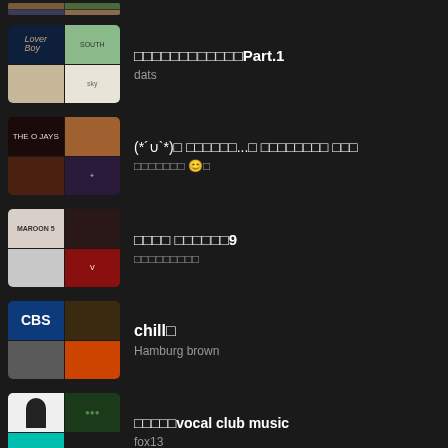[Figure (other): Music streaming app playlist list, dark background, showing playlist items with album art thumbnails and titles]
□□□□□□□□□□□□Part.1 / dats
(*´∪`*)□ □□□□□□...□ □□□□□□□□ □□□ / □□□□□□□ 😊□
□□□□ □□□□□□9 / □□□□□□□□□
chill□ / Hamburg brown
□□□□□vocal club music / fox13
juice